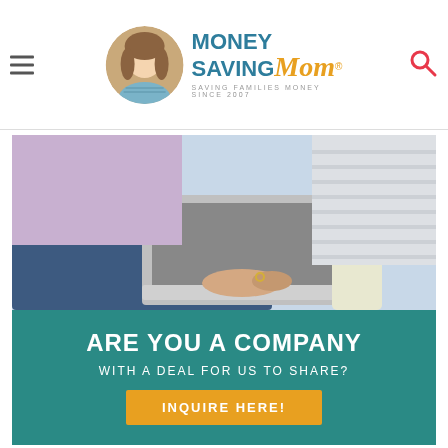Money Saving Mom® — Saving Families Money Since 2007
[Figure (screenshot): Advertisement banner: photo of person typing on laptop, teal background with text 'ARE YOU A COMPANY WITH A DEAL FOR US TO SHARE?' and yellow 'INQUIRE HERE!' button]
[Figure (screenshot): Partial advertisement banner: teal background with white text 'CUT YOUR GROCERY BILL BY $50!']